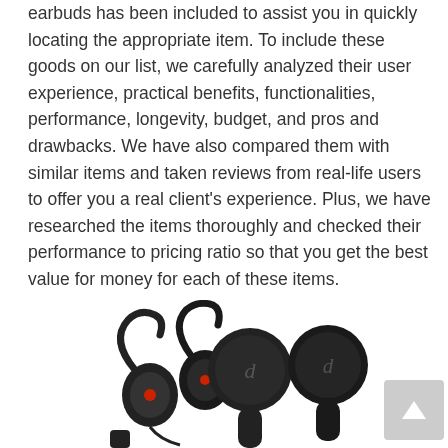earbuds has been included to assist you in quickly locating the appropriate item. To include these goods on our list, we carefully analyzed their user experience, practical benefits, functionalities, performance, longevity, budget, and pros and drawbacks. We have also compared them with similar items and taken reviews from real-life users to offer you a real client's experience. Plus, we have researched the items thoroughly and checked their performance to pricing ratio so that you get the best value for money for each of these items.

So, without further ado, let's get this review started.
[Figure (photo): Two sport hook-style wireless earbuds (black with red accents) on the left, and two round true wireless earbuds (black) on the right, partially visible at the bottom of the page. A grey scroll-to-top button with an upward arrow is in the bottom right corner.]